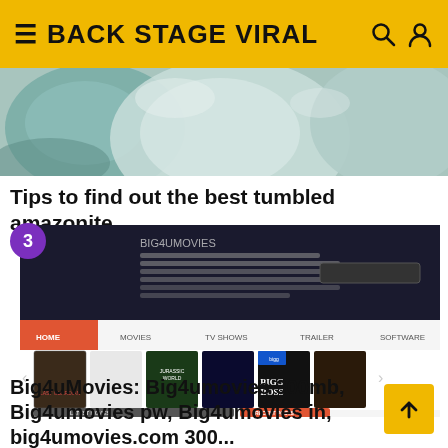BACK STAGE VIRAL
[Figure (photo): Close-up photo of tumbled green/grey amazonite stones]
Tips to find out the best tumbled amazonite
[Figure (screenshot): Screenshot of a movie download website (Big4uMovies) showing dark header with navigation menu (Home, Movies, TV Shows, Trailer, Software) and movie poster thumbnails including Jurassic World, and other films including Bigg Boss]
Big4uMovies: Big4umovies 300mb, Big4umovies pw, Big4umovies in, big4umovies.com 300...